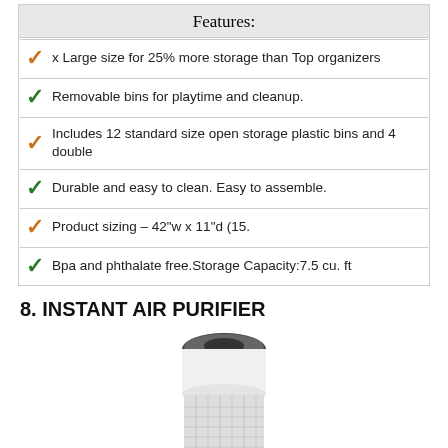| Features: |
| --- |
| x Large size for 25% more storage than Top organizers |
| Removable bins for playtime and cleanup. |
| Includes 12 standard size open storage plastic bins and 4 double |
| Durable and easy to clean. Easy to assemble. |
| Product sizing – 42"w x 11"d (15. |
| Bpa and phthalate free.Storage Capacity:7.5 cu. ft |
8. INSTANT AIR PURIFIER
[Figure (photo): Photo of a cylindrical white Instant air purifier with mesh body and dark top control panel]